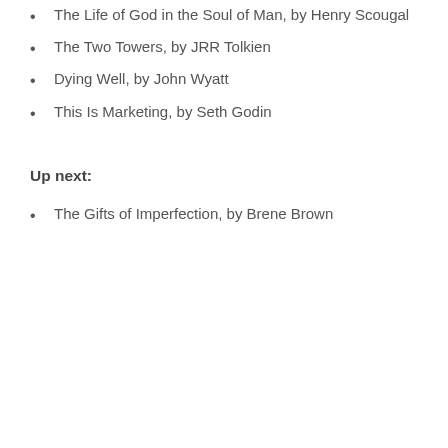The Life of God in the Soul of Man, by Henry Scougal
The Two Towers, by JRR Tolkien
Dying Well, by John Wyatt
This Is Marketing, by Seth Godin
Up next:
The Gifts of Imperfection, by Brene Brown